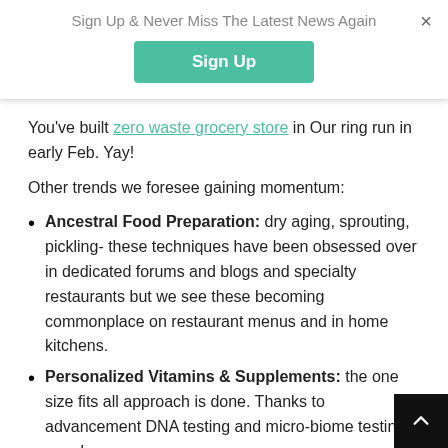Sign Up & Never Miss The Latest News Again
You've built zero waste grocery store in Our ring run in early Feb. Yay!
Other trends we foresee gaining momentum:
Ancestral Food Preparation: dry aging, sprouting, pickling- these techniques have been obsessed over in dedicated forums and blogs and specialty restaurants but we see these becoming commonplace on restaurant menus and in home kitchens.
Personalized Vitamins & Supplements: the one size fits all approach is done. Thanks to advancement DNA testing and micro-biome testing, people now